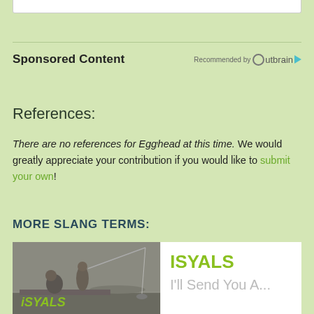Sponsored Content
Recommended by Outbrain
References:
There are no references for Egghead at this time. We would greatly appreciate your contribution if you would like to submit your own!
MORE SLANG TERMS:
[Figure (photo): Two people fishing on a boat, black and white photo, with ISYALS text overlay in green]
ISYALS
I'll Send You A...